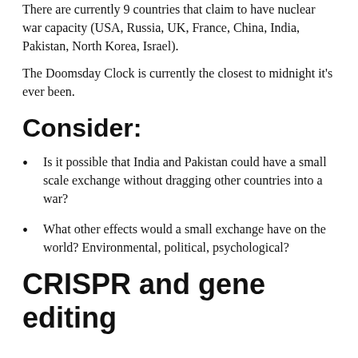There are currently 9 countries that claim to have nuclear war capacity (USA, Russia, UK, France, China, India, Pakistan, North Korea, Israel).
The Doomsday Clock is currently the closest to midnight it's ever been.
Consider:
Is it possible that India and Pakistan could have a small scale exchange without dragging other countries into a war?
What other effects would a small exchange have on the world? Environmental, political, psychological?
CRISPR and gene editing